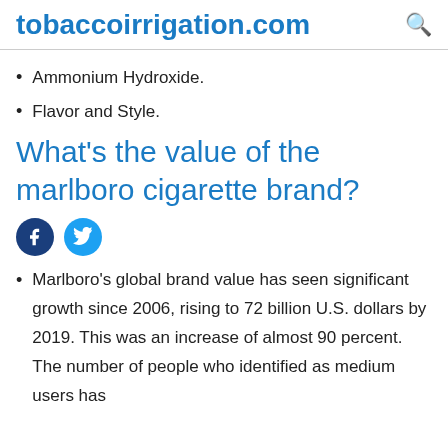tobaccoirrigation.com
Ammonium Hydroxide.
Flavor and Style.
What's the value of the marlboro cigarette brand?
[Figure (other): Facebook and Twitter social sharing icons]
Marlboro’s global brand value has seen significant growth since 2006, rising to 72 billion U.S. dollars by 2019. This was an increase of almost 90 percent. The number of people who identified as medium users has